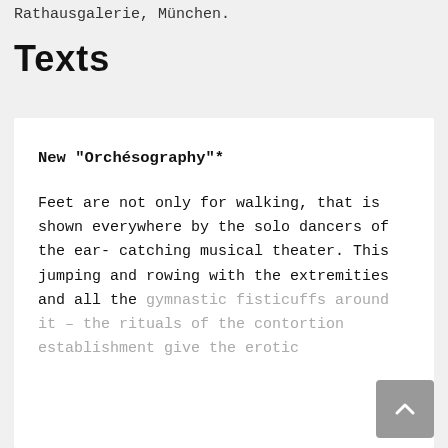Rathausgalerie, München.
Texts
New “Orchésography”*
Feet are not only for walking, that is shown everywhere by the solo dancers of the ear-catching musical theater. This jumping and rowing with the extremities and all the gymnastic fisticuffs around it – the rituals of the contortion establishment give the erotic